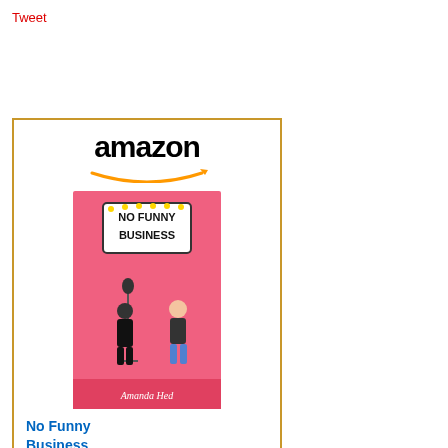Tweet
[Figure (other): Amazon advertisement widget for the book 'No Funny Business' priced at $15.99 with Prime badge and Shop now button]